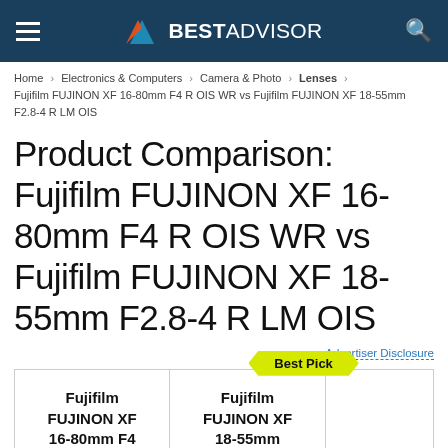BESTADVISOR
Home > Electronics & Computers > Camera & Photo > Lenses > Fujifilm FUJINON XF 16-80mm F4 R OIS WR vs Fujifilm FUJINON XF 18-55mm F2.8-4 R LM OIS
Product Comparison: Fujifilm FUJINON XF 16-80mm F4 R OIS WR vs Fujifilm FUJINON XF 18-55mm F2.8-4 R LM OIS
Advertiser Disclosure
| Fujifilm FUJINON XF 16-80mm F4 R OIS WR Camera Lens | Fujifilm FUJINON XF 18-55mm F2.8-4 R LM OIS Zoom |  |
| --- | --- | --- |